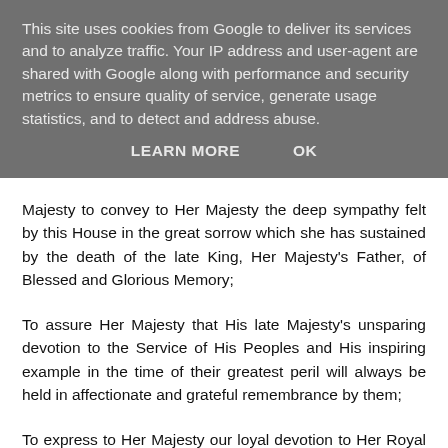This site uses cookies from Google to deliver its services and to analyze traffic. Your IP address and user-agent are shared with Google along with performance and security metrics to ensure quality of service, generate usage statistics, and to detect and address abuse.
LEARN MORE   OK
Majesty to convey to Her Majesty the deep sympathy felt by this House in the great sorrow which she has sustained by the death of the late King, Her Majesty's Father, of Blessed and Glorious Memory;
To assure Her Majesty that His late Majesty's unsparing devotion to the Service of His Peoples and His inspiring example in the time of their greatest peril will always be held in affectionate and grateful remembrance by them;
To express to Her Majesty our loyal devotion to Her Royal Person and our complete conviction that She will, with the Blessing of God,